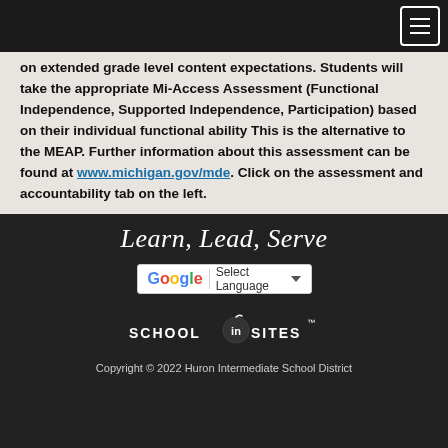[navigation menu button]
on extended grade level content expectations. Students will take the appropriate Mi-Access Assessment (Functional Independence, Supported Independence, Participation) based on their individual functional ability This is the alternative to the MEAP. Further information about this assessment can be found at www.michigan.gov/mde. Click on the assessment and accountability tab on the left.
Learn, Lead, Serve
[Figure (other): Google Translate Select Language widget with Google G logo and dropdown arrow]
[Figure (logo): SchoolInSites logo with apple icon]
Copyright © 2022 Huron Intermediate School District